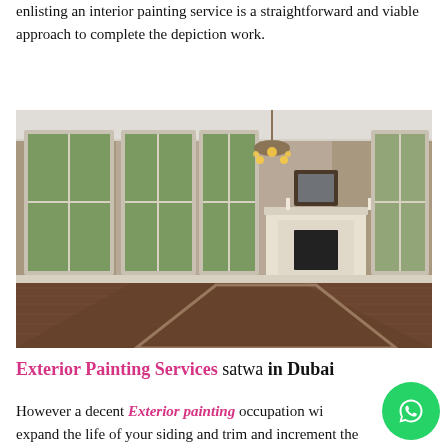enlisting an interior painting service is a straightforward and viable approach to complete the depiction work.
[Figure (photo): Interior room photo showing a spacious living room with large white-framed windows, hardwood floors, a white fireplace mantel with a dark framed mirror above it, a chandelier, and taupe/beige painted walls.]
Exterior Painting Services satwa in Dubai
However a decent Exterior painting occupation wi expand the life of your siding and trim and increment the